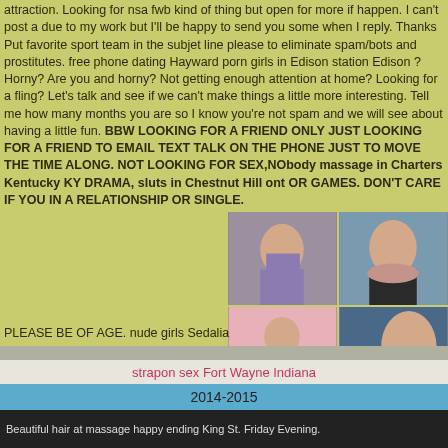attraction. Looking for nsa fwb kind of thing but open for more if happen. I can't post a due to my work but I'll be happy to send you some when I reply. Thanks Put favorite sport team in the subjet line please to eliminate spam/bots and prostitutes. free phone dating Hayward porn girls in Edison station Edison ? Horny? Are you and horny? Not getting enough attention at home? Looking for a fling? Let's talk and see if we can't make things a little more interesting. Tell me how many months you are so I know you're not spam and we will see about having a little fun. BBW LOOKING FOR A FRIEND ONLY JUST LOOKING FOR A FRIEND TO EMAIL TEXT TALK ON THE PHONE JUST TO MOVE THE TIME ALONG. NOT LOOKING FOR SEX,NObody massage in Charters Kentucky KY DRAMA, sluts in Chestnut Hill ont OR GAMES. DON'T CARE IF YOU IN A RELATIONSHIP OR SINGLE.
[Figure (photo): Four photos arranged in 2x2 grid showing women]
PLEASE BE OF AGE. nude girls Sedalia
strapon sex Fort Wayne Indiana
2014-2015
Beautiful hair at massage happy ending King St. Friday Evening.